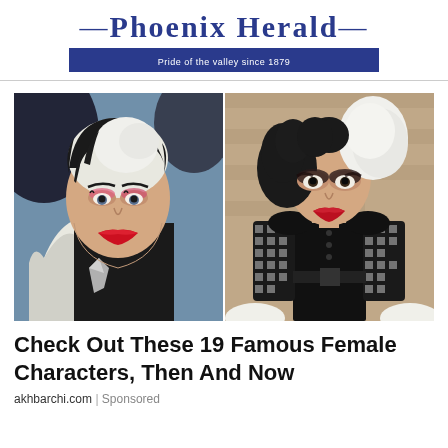—PHOENIX HERALD— Pride of the valley since 1879
[Figure (photo): Two side-by-side photos of actresses portraying Cruella de Vil: left photo shows Glenn Close in the 1996 live-action film with black and white hair, dramatic makeup, and a large white lapel jacket; right photo shows Emma Stone in the 2021 Cruella film with black and white curly hair, dark eye makeup, black leather outfit with patterned sleeves, posing against a stone wall background.]
Check Out These 19 Famous Female Characters, Then And Now
akhbarchi.com | Sponsored